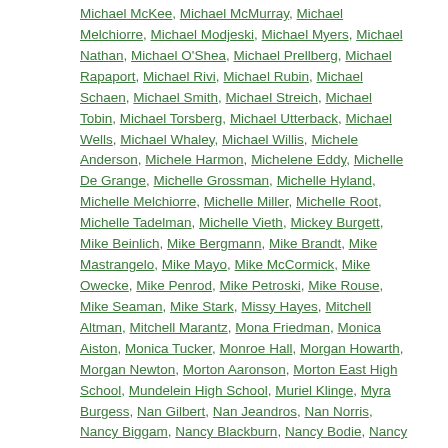Michael McKee, Michael McMurray, Michael Melchiorre, Michael Modjeski, Michael Myers, Michael Nathan, Michael O'Shea, Michael Prellberg, Michael Rapaport, Michael Rivi, Michael Rubin, Michael Schaen, Michael Smith, Michael Streich, Michael Tobin, Michael Torsberg, Michael Utterback, Michael Wells, Michael Whaley, Michael Willis, Michele Anderson, Michele Harmon, Michelene Eddy, Michelle De Grange, Michelle Grossman, Michelle Hyland, Michelle Melchiorre, Michelle Miller, Michelle Root, Michelle Tadelman, Michelle Vieth, Mickey Burgett, Mike Beinlich, Mike Bergmann, Mike Brandt, Mike Mastrangelo, Mike Mayo, Mike McCormick, Mike Owecke, Mike Penrod, Mike Petroski, Mike Rouse, Mike Seaman, Mike Stark, Missy Hayes, Mitchell Altman, Mitchell Marantz, Mona Friedman, Monica Aiston, Monica Tucker, Monroe Hall, Morgan Howarth, Morgan Newton, Morton Aaronson, Morton East High School, Mundelein High School, Muriel Klinge, Myra Burgess, Nan Gilbert, Nan Jeandros, Nan Norris, Nancy Biggam, Nancy Blackburn, Nancy Bodie, Nancy Bronikowski, Nancy Brown, Nancy Bruemmer, Nancy Bundock, Nancy Carlson, Nancy Childress, Nancy Comess, Nancy Fay, Nancy